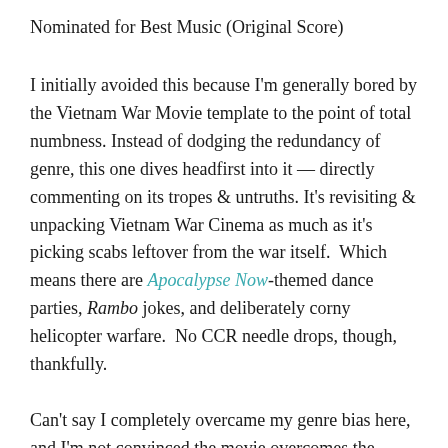Nominated for Best Music (Original Score)
I initially avoided this because I'm generally bored by the Vietnam War Movie template to the point of total numbness. Instead of dodging the redundancy of genre, this one dives headfirst into it — directly commenting on its tropes & untruths. It's revisiting & unpacking Vietnam War Cinema as much as it's picking scabs leftover from the war itself.  Which means there are Apocalypse Now-themed dance parties, Rambo jokes, and deliberately corny helicopter warfare.  No CCR needle drops, though, thankfully.
Can't say I completely overcame my genre bias here, and I'm not convinced the movie overcomes the hurdle of Netflix Flatness either.  Still, I'm always on the hook for Spike Lee's messy multimedia jabs at all ugly corners